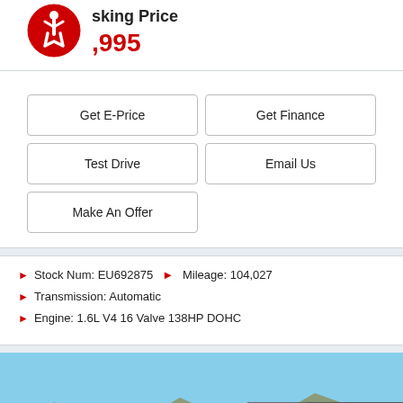Asking Price
$7,995
Get E-Price
Get Finance
Test Drive
Email Us
Make An Offer
Stock Num: EU692875   Mileage: 104,027
Transmission: Automatic
Engine: 1.6L V4 16 Valve 138HP DOHC
[Figure (photo): Car dealership lot with multiple vehicles parked outdoors, mountains visible in background, a dark sedan in foreground with a yellow sticker on windshield]